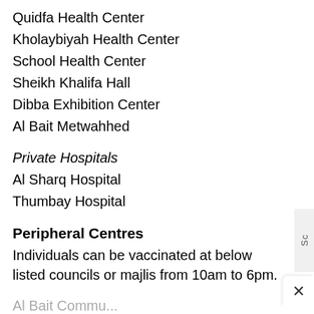Quidfa Health Center
Kholaybiyah Health Center
School Health Center
Sheikh Khalifa Hall
Dibba Exhibition Center
Al Bait Metwahhed
Private Hospitals
Al Sharq Hospital
Thumbay Hospital
Peripheral Centres
Individuals can be vaccinated at below listed councils or majlis from 10am to 6pm.